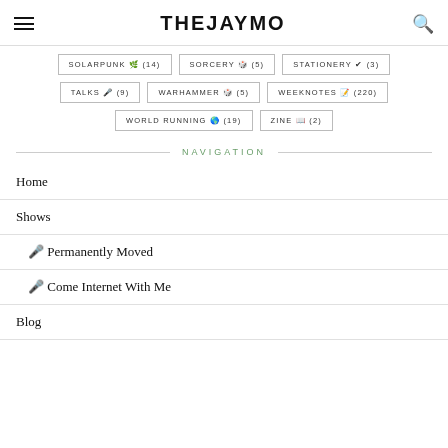THEJAYMO
SOLARPUNK 🌿 (14)
SORCERY 🎲 (5)
STATIONERY ✒ (3)
TALKS 🎤 (9)
WARHAMMER 🎲 (5)
WEEKNOTES 📝 (220)
WORLD RUNNING 🌍 (19)
ZINE 📄 (2)
NAVIGATION
Home
Shows
🎙 Permanently Moved
🎙 Come Internet With Me
Blog